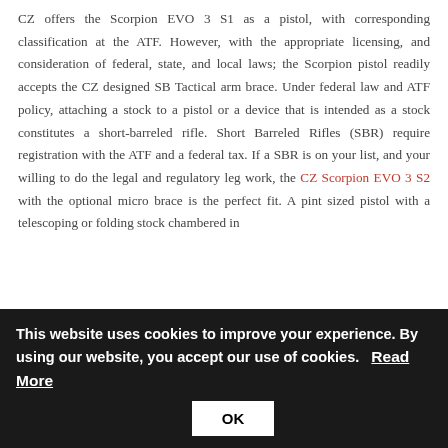CZ offers the Scorpion EVO 3 S1 as a pistol, with corresponding classification at the ATF. However, with the appropriate licensing, and consideration of federal, state, and local laws; the Scorpion pistol readily accepts the CZ designed SB Tactical arm brace. Under federal law and ATF policy, attaching a stock to a pistol or a device that is intended as a stock constitutes a short-barreled rifle. Short Barreled Rifles (SBR) require registration with the ATF and a federal tax. If a SBR is on your list, and your willing to do the legal and regulatory leg work, the CZ Scorpion EVO 3 S2 with the optional micro brace is the perfect fit. A pint sized pistol with a telescoping or folding stock chambered in
This website uses cookies to improve your experience. By using our website, you accept our use of cookies. Read More OK